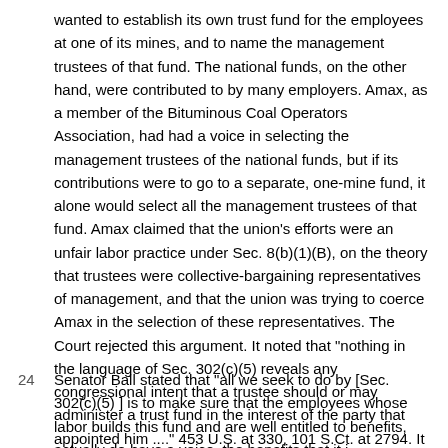wanted to establish its own trust fund for the employees at one of its mines, and to name the management trustees of that fund. The national funds, on the other hand, were contributed to by many employers. Amax, as a member of the Bituminous Coal Operators Association, had had a voice in selecting the management trustees of the national funds, but if its contributions were to go to a separate, one-mine fund, it alone would select all the management trustees of that fund. Amax claimed that the union's efforts were an unfair labor practice under Sec. 8(b)(1)(B), on the theory that trustees were collective-bargaining representatives of management, and that the union was trying to coerce Amax in the selection of these representatives. The Court rejected this argument. It noted that "nothing in the language of Sec. 302(c)(5) reveals any congressional intent that a trustee should or may administer a trust fund in the interest of the party that appointed him ...." 453 U.S. at 330, 101 S.Ct. at 2794. It stressed the separateness of the fund and its trustees from both the union and the employer. And it referred approvingly to the following remarks by one of the two sponsors of Sec. 302(c)(5):
24  Senator Ball stated that "all we seek to do by [Sec. 302(c)(5) ] is to make sure that the employees whose labor builds this fund and are well entitled to benefits, actually do have a voice, the benefits that it is